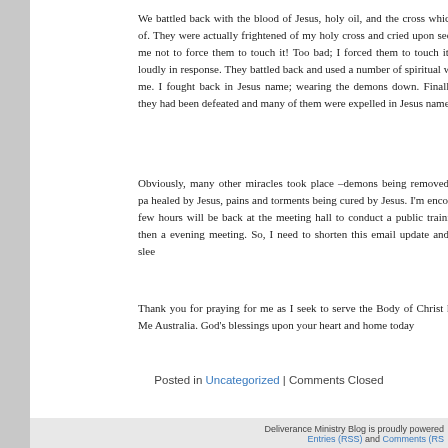We battled back with the blood of Jesus, holy oil, and the cross which they of. They were actually frightened of my holy cross and cried upon seeing it; me not to force them to touch it! Too bad; I forced them to touch it. They loudly in response. They battled back and used a number of spiritual weapons me. I fought back in Jesus name; wearing the demons down. Finally they they had been defeated and many of them were expelled in Jesus name.
Obviously, many other miracles took place –demons being removed, heart pa healed by Jesus, pains and torments being cured by Jesus. I'm encouraged few hours will be back at the meeting hall to conduct a public training sem then a evening meeting. So, I need to shorten this email update and try to slee
Thank you for praying for me as I seek to serve the Body of Christ here in Mo Australia. God's blessings upon your heart and home today
Posted in Uncategorized | Comments Closed
Deliverance Ministry Blog is proudly powered Entries (RSS) and Comments (RS